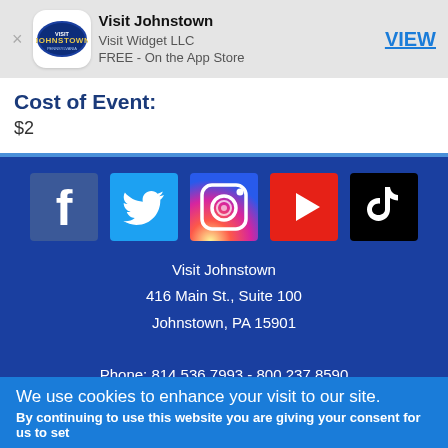[Figure (logo): App Store banner with Johnstown logo, app name Visit Johnstown, developer Visit Widget LLC, price FREE - On the App Store, and VIEW button]
Cost of Event:
$2
[Figure (infographic): Row of 5 social media icons: Facebook, Twitter, Instagram, YouTube, TikTok on blue background]
Visit Johnstown
416 Main St., Suite 100
Johnstown, PA 15901
Phone: 814.536.7993 - 800.237.8590
Fax: 814.539.3370
Pennsylvania
We use cookies to enhance your visit to our site.
By continuing to use this website you are giving your consent for us to set